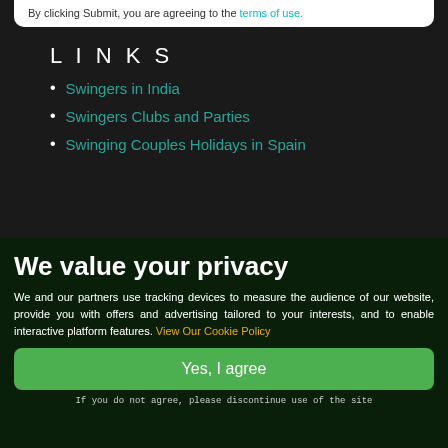By clicking Submit, you are agreeing to the terms of use.
LINKS
Swingers in India
Swingers Clubs and Parties
Swinging Couples Holidays in Spain
Swingers Videos
UK Swingers Contacts
We value your privacy
We and our partners use tracking devices to measure the audience of our website, provide you with offers and advertising tailored to your interests, and to enable interactive platform features. View Our Cookie Policy
Yes, I agree
If you do not agree, please discontinue use of the site